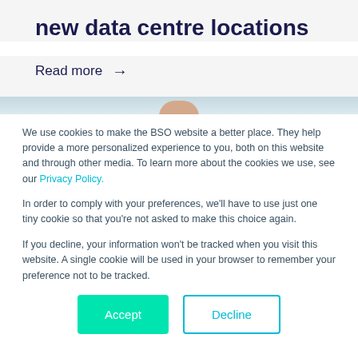new data centre locations
Read more →
[Figure (photo): Partial image strip showing people, blurred/cropped at top of cookie consent area]
We use cookies to make the BSO website a better place. They help provide a more personalized experience to you, both on this website and through other media. To learn more about the cookies we use, see our Privacy Policy.
In order to comply with your preferences, we'll have to use just one tiny cookie so that you're not asked to make this choice again.
If you decline, your information won't be tracked when you visit this website. A single cookie will be used in your browser to remember your preference not to be tracked.
Accept | Decline